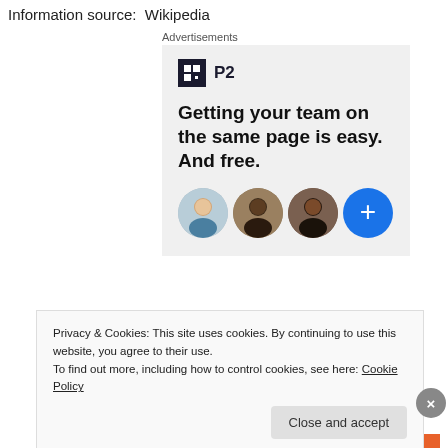Information source:  Wikipedia
Advertisements
[Figure (illustration): P2 advertisement banner with logo, headline text 'Getting your team on the same page is easy. And free.' and three user avatar photos plus a blue plus button]
Privacy & Cookies: This site uses cookies. By continuing to use this website, you agree to their use.
To find out more, including how to control cookies, see here: Cookie Policy
Close and accept
Advertisements